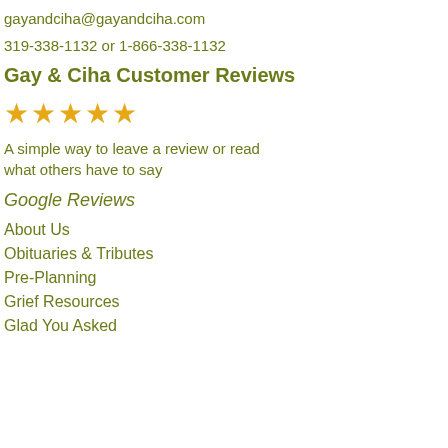gayandciha@gayandciha.com
319-338-1132 or 1-866-338-1132
Gay & Ciha Customer Reviews
[Figure (other): Five orange star rating icons]
A simple way to leave a review or read what others have to say
Google Reviews
About Us
Obituaries & Tributes
Pre-Planning
Grief Resources
Glad You Asked